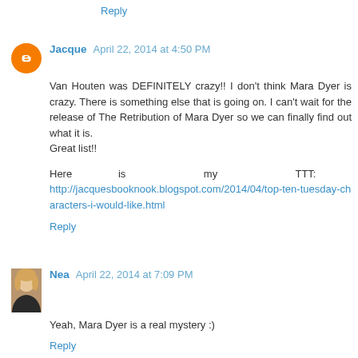Reply
Jacque  April 22, 2014 at 4:50 PM
Van Houten was DEFINITELY crazy!! I don't think Mara Dyer is crazy. There is something else that is going on. I can't wait for the release of The Retribution of Mara Dyer so we can finally find out what it is.
Great list!!
Here is my TTT: http://jacquesbooknook.blogspot.com/2014/04/top-ten-tuesday-characters-i-would-like.html
Reply
Nea  April 22, 2014 at 7:09 PM
Yeah, Mara Dyer is a real mystery :)
Reply